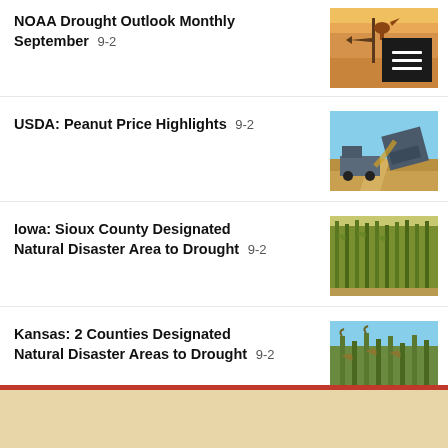NOAA Drought Outlook Monthly September 9-2
USDA: Peanut Price Highlights 9-2
Iowa: Sioux County Designated Natural Disaster Area to Drought 9-2
Kansas: 2 Counties Designated Natural Disaster Areas to Drought 9-2